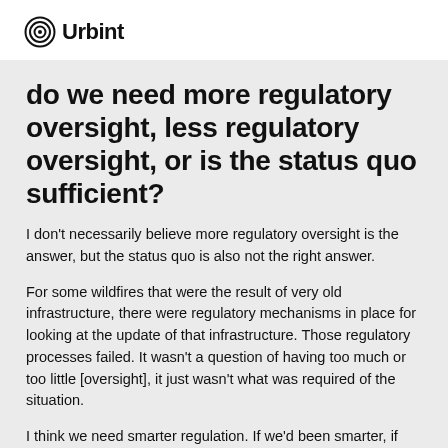Urbint
do we need more regulatory oversight, less regulatory oversight, or is the status quo sufficient?
I don't necessarily believe more regulatory oversight is the answer, but the status quo is also not the right answer.
For some wildfires that were the result of very old infrastructure, there were regulatory mechanisms in place for looking at the update of that infrastructure. Those regulatory processes failed. It wasn't a question of having too much or too little [oversight], it just wasn't what was required of the situation.
I think we need smarter regulation. If we'd been smarter, if we'd used more technology, could we have done a better